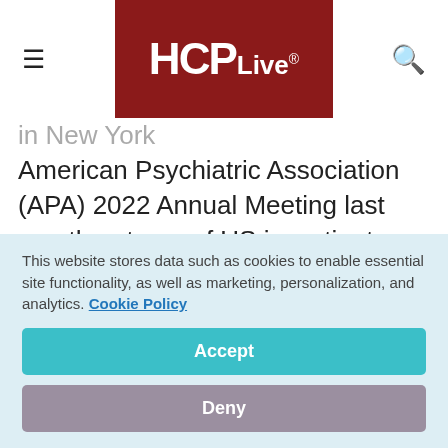HCPLive®
in New York... American Psychiatric Association (APA) 2022 Annual Meeting last month, a team of US investigators reported that trazodone is a popular prescription outside its indicated use and dosage set by the US Food and Drug Administration (FDA) 4 decades ago as an
This website stores data such as cookies to enable essential site functionality, as well as marketing, personalization, and analytics. Cookie Policy
Accept
Deny